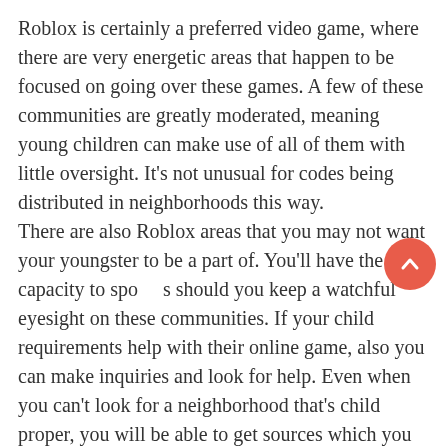Roblox is certainly a preferred video game, where there are very energetic areas that happen to be focused on going over these games. A few of these communities are greatly moderated, meaning young children can make use of all of them with little oversight. It's not unusual for codes being distributed in neighborhoods this way.
There are also Roblox areas that you may not want your youngster to be a part of. You'll have the capacity to spot these should you keep a watchful eyesight on these communities. If your child requirements help with their online game, also you can make inquiries and look for help. Even when you can't look for a neighborhood that's child proper, you will be able to get sources which you can use when they need help.
Continue to keep Trying To Find Codes